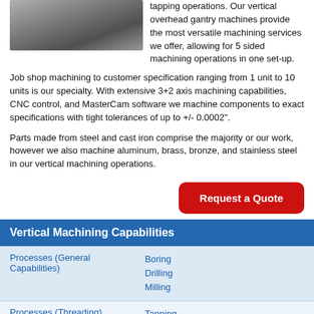[Figure (photo): Grayscale photo of a machining/manufacturing shop floor or metal parts]
tapping operations. Our vertical overhead gantry machines provide the most versatile machining services we offer, allowing for 5 sided machining operations in one set-up.
Job shop machining to customer specification ranging from 1 unit to 10 units is our specialty. With extensive 3+2 axis machining capabilities, CNC control, and MasterCam software we machine components to exact specifications with tight tolerances of up to +/- 0.0002".
Parts made from steel and cast iron comprise the majority or our work, however we also machine aluminum, brass, bronze, and stainless steel in our vertical machining operations.
Request a Quote
| Vertical Machining Capabilities |  |
| --- | --- |
| Processes (General Capabilities) | Boring
Drilling
Milling |
| Processes (Threading) | Tapping
Thread Milling |
| Additional Capabilities | CAM Programming Services |
|  | Aerospace
Appliance
Automotive
Industrial
... |